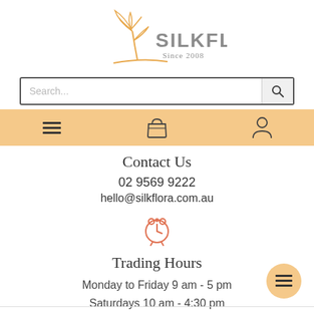[Figure (logo): Silkflora logo with flower/leaf illustration and 'SILKFLORA Since 2008' text in golden/gray colors]
Search...
[Figure (infographic): Navigation bar with hamburger menu icon, shopping basket icon, and user/account icon on a peach/orange background]
Contact Us
02 9569 9222
hello@silkflora.com.au
[Figure (illustration): Alarm clock icon in coral/salmon outline style]
Trading Hours
Monday to Friday 9 am - 5 pm
Saturdays 10 am - 4:30 pm